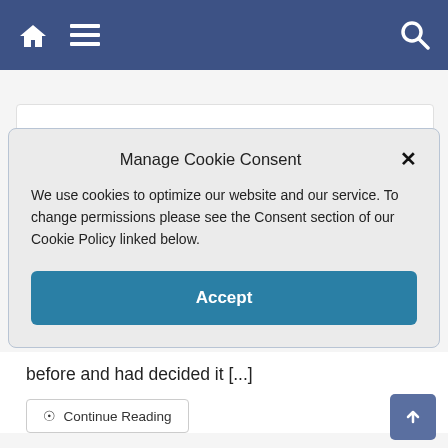Navigation bar with home, menu, and search icons
Manage Cookie Consent
We use cookies to optimize our website and our service. To change permissions please see the Consent section of our Cookie Policy linked below.
Accept
before and had decided it [...]
Continue Reading